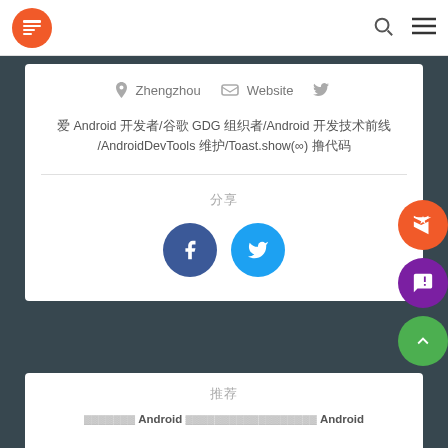Navigation bar with logo, search, and menu icons
Zhengzhou  Website  [twitter icon]
爱 Android 开发者/谷歌 GDG 组织者/Android 开发技术前线/AndroidDevTools 维护/Toast.show(∞) 撸代码
分享
[Figure (illustration): Facebook and Twitter share buttons]
推荐
推荐 Android 推荐 Android